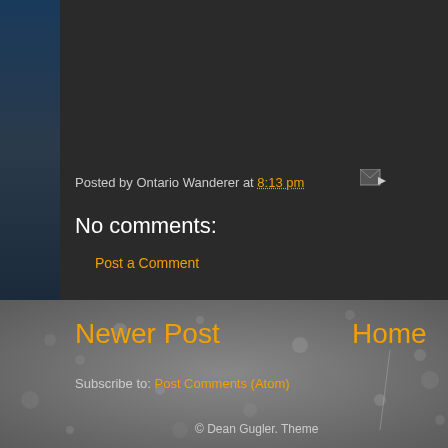Posted by Ontario Wanderer at 8:13 pm
No comments:
Post a Comment
Newer Post
Home
Subscribe to: Post Comments (Atom)
© Dean Gugler. Theme